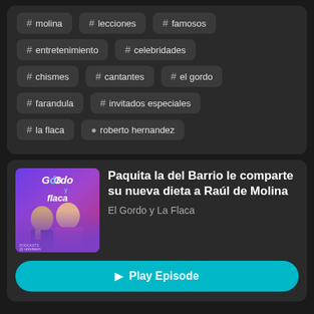# molina
# lecciones
# famosos
# entretenimiento
# celebridades
# chismes
# cantantes
# el gordo
# farandula
# invitados especiales
# la flaca
roberto hernandez
Paquita la del Barrio le comparte su nueva dieta a Raúl de Molina
El Gordo y La Flaca
Play Episode